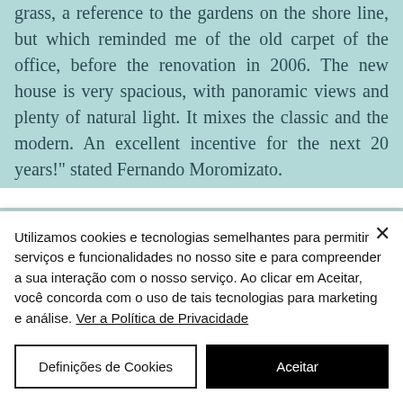grass, a reference to the gardens on the shore line, but which reminded me of the old carpet of the office, before the renovation in 2006. The new house is very spacious, with panoramic views and plenty of natural light. It mixes the classic and the modern. An excellent incentive for the next 20 years!" stated Fernando Moromizato.
"I started my career at RMM 18 years
Utilizamos cookies e tecnologias semelhantes para permitir serviços e funcionalidades no nosso site e para compreender a sua interação com o nosso serviço. Ao clicar em Aceitar, você concorda com o uso de tais tecnologias para marketing e análise. Ver a Política de Privacidade
Definições de Cookies
Aceitar